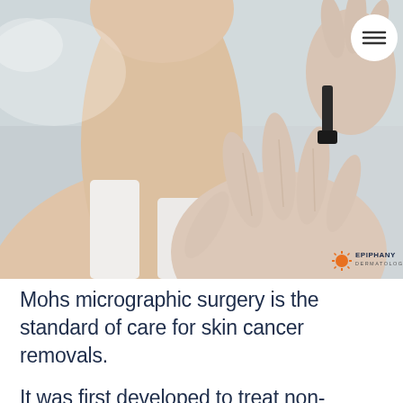[Figure (photo): A medical professional in white gloves examining a mole on a patient's neck using a dermatoscope. The patient appears to be a young woman wearing a white sleeveless top. The Epiphany Dermatology logo is visible in the bottom right corner of the image.]
Mohs micrographic surgery is the standard of care for skin cancer removals.
It was first developed to treat non-melanoma